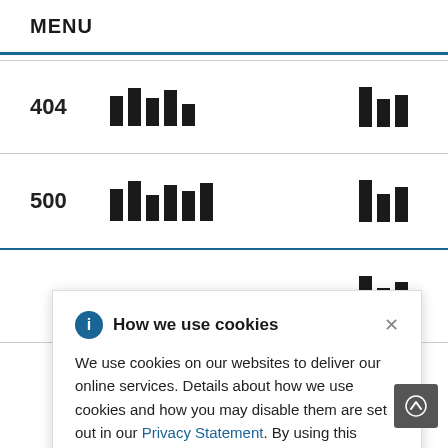MENU
404
500
[Figure (screenshot): Cookie consent banner popup with title 'How we use cookies', info icon, close X button, body text about cookie usage and link to Privacy Statement]
← Previous Page